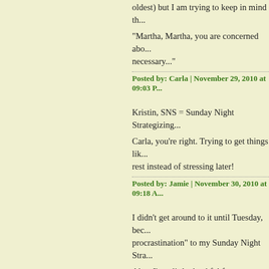oldest) but I am trying to keep in mind th...
"Martha, Martha, you are concerned abo... necessary..."
Posted by: Carla | November 29, 2010 at 09:03 P...
Kristin, SNS = Sunday Night Strategizing...
Carla, you're right. Trying to get things lik... rest instead of stressing later!
Posted by: Jamie | November 30, 2010 at 09:18 A...
I didn't get around to it until Tuesday, bec... procrastination" to my Sunday Night Stra...
Also, I'm a little thankful for your posts on... helping me keep the internet from eating...
Posted by: etteloc | November 30, 2010 at 10:14 ...
The comments to this entry are closed.